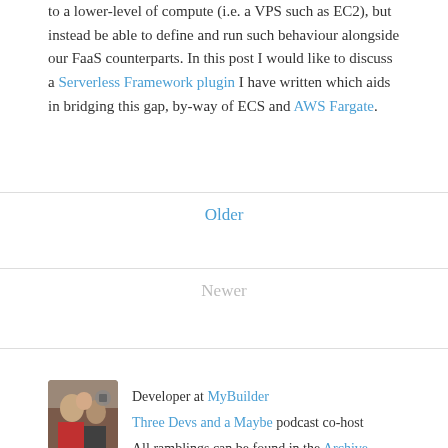to a lower-level of compute (i.e. a VPS such as EC2), but instead be able to define and run such behaviour alongside our FaaS counterparts. In this post I would like to discuss a Serverless Framework plugin I have written which aids in bridging this gap, by-way of ECS and AWS Fargate.
Older
Newer
[Figure (photo): Author profile photo showing two people]
Developer at MyBuilder
Three Devs and a Maybe podcast co-host
All ramblings can be found in the Archive